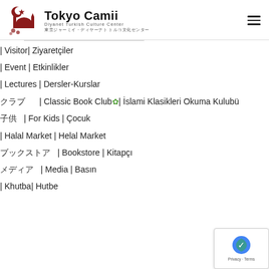[Figure (logo): Tokyo Camii Diyanet Turkish Culture Center logo with crescent, star, mosque silhouette, and cherry blossom icons in dark red]
| Visitor| Ziyaretçiler
| Event | Etkinlikler
| Lectures | Dersler-Kurslar
クラブ  | Classic Book Club🌿| İslami Klasikleri Okuma Kulubü
子供  | For Kids | Çocuk
| Halal Market | Helal Market
ブックストア  | Bookstore | Kitapçı
メディア  | Media | Basın
| Khutba| Hutbe